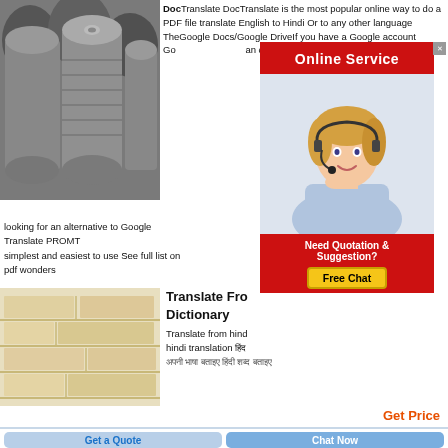[Figure (photo): Rolls of grey industrial material stacked together]
DocTranslate DocTranslate is the most popular online way to do a PDF file translate English to Hindi Or to any other language TheGoogle Docs/Google DriveIf you have a Google account Google Docs gives an option to translate Simply upload theP looking for an alternative to Google Translate PROMT simplest and easiest to use See full list on pdf wonders
[Figure (photo): Online Service advertisement with customer service representative wearing headset]
[Figure (photo): Stack of light-colored bricks or stone blocks]
Translate From Dictionary
Translate from hindi hindi translation
अपनी भाषा बताइए हिंदी शब्द बताइए
Get Price
Get a Quote
Chat Now